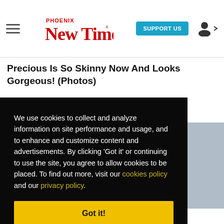Phoenix New Times — SUPPORT US [user icon]
Precious Is So Skinny Now And Looks Gorgeous! (Photos)
We use cookies to collect and analyze information on site performance and usage, and to enhance and customize content and advertisements. By clicking 'Got it' or continuing to use the site, you agree to allow cookies to be placed. To find out more, visit our cookies policy and our privacy policy.
Got it!
[Figure (photo): Partial photo visible on the right side behind the cookie consent overlay]
20 More Disastrous Celebrity Plastic Surgery